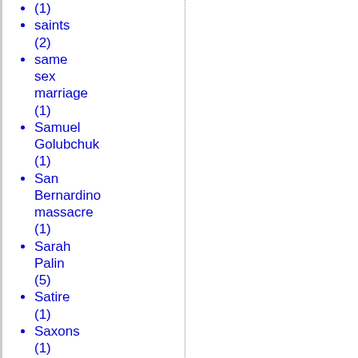(1)
saints (2)
same sex marriage (1)
Samuel Golubchuk (1)
San Bernardino massacre (1)
Sarah Palin (5)
Satire (1)
Saxons (1)
Scalia (2)
Schmemann (1)